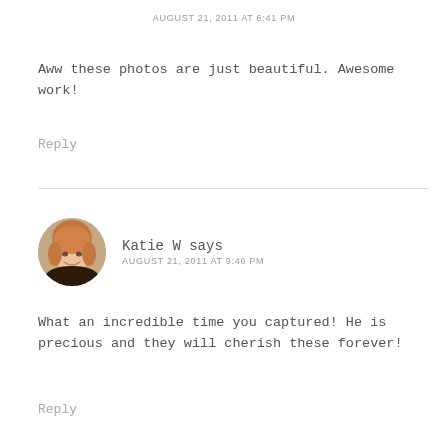AUGUST 21, 2011 AT 6:41 PM
Aww these photos are just beautiful. Awesome work!
Reply
[Figure (photo): Avatar photo of Katie W, a woman with short blonde/red hair, smiling, circular crop]
Katie W says
AUGUST 21, 2011 AT 9:46 PM
What an incredible time you captured! He is precious and they will cherish these forever!
Reply